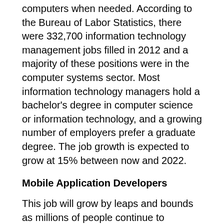computers when needed. According to the Bureau of Labor Statistics, there were 332,700 information technology management jobs filled in 2012 and a majority of these positions were in the computer systems sector. Most information technology managers hold a bachelor's degree in computer science or information technology, and a growing number of employers prefer a graduate degree. The job growth is expected to grow at 15% between now and 2022.
Mobile Application Developers
This job will grow by leaps and bounds as millions of people continue to purchase mobile devices and download apps for business and entertainment purposes. It creates expanded opportunities for those who want to become mobile application